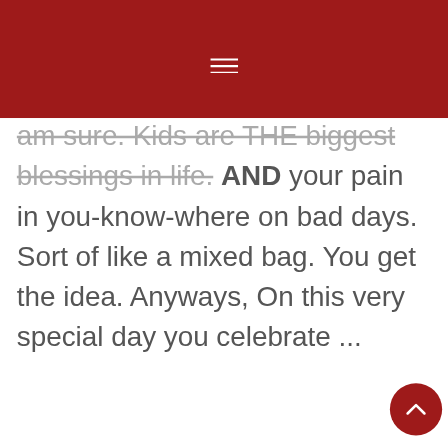am sure. Kids are THE biggest blessings in life. AND your pain in you-know-where on bad days. Sort of like a mixed bag. You get the idea. Anyways, On this very special day you celebrate ...
READ THE POST
By continuing to use the site, you agree to the use of cookies. more information
ACCEPT
FILED UNDER: BRAND PARTNERSHIPS, BUSINESS RELATIONSHIPS, FAMILIES, HOME AND LIVING, INFOMERCINE, LIFE HACKS, PARENTING AND FAMILY, PLAYING ON YOU TUBE
TAGGED WITH: BIRTHDAY IDEAS